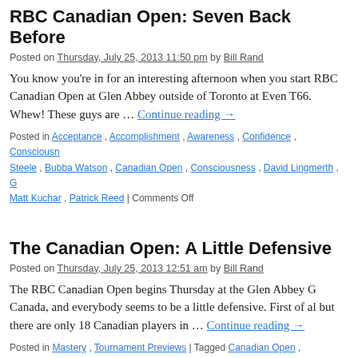RBC Canadian Open: Seven Back Before
Posted on Thursday, July 25, 2013 11:50 pm by Bill Rand
You know you're in for an interesting afternoon when you start RBC Canadian Open at Glen Abbey outside of Toronto at Even T66. Whew! These guys are … Continue reading →
Posted in Acceptance, Accomplishment, Awareness, Confidence, Consciousness, Steele, Bubba Watson, Canadian Open, Consciousness, David Lingmerth, G Matt Kuchar, Patrick Reed | Comments Off
The Canadian Open: A Little Defensive
Posted on Thursday, July 25, 2013 12:51 am by Bill Rand
The RBC Canadian Open begins Thursday at the Glen Abbey G Canada, and everybody seems to be a little defensive. First of al but there are only 18 Canadian players in … Continue reading →
Posted in Mastery, Tournament Previews | Tagged Canadian Open, Consciousness, Playoffs | Comments Off